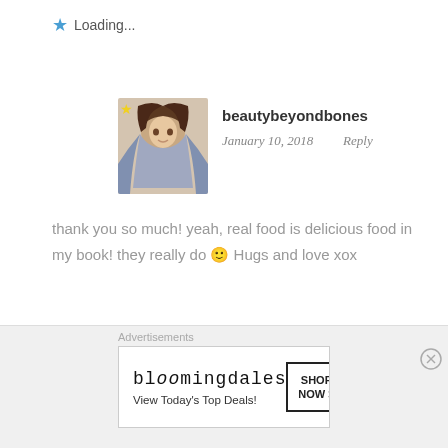Loading...
[Figure (photo): Avatar photo of beautybeyondbones, a woman with long brown hair]
beautybeyondbones
January 10, 2018   Reply
thank you so much! yeah, real food is delicious food in my book! they really do 🙂 Hugs and love xox
Loading...
[Figure (photo): Avatar photo of iamjirah, a young woman with glasses]
iamjirah
January 10, 2018   Reply
[Figure (screenshot): Bloomingdales advertisement banner: 'View Today's Top Deals!' with SHOP NOW button]